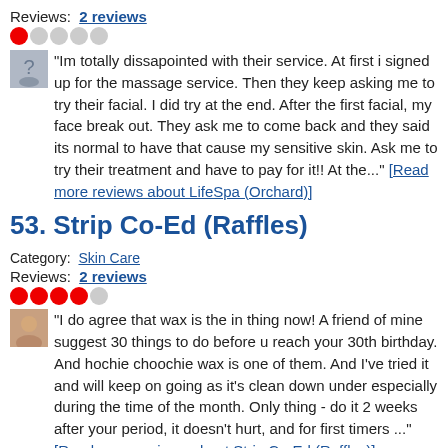Reviews: 2 reviews
[Figure (other): Star rating: 1 out of 5 stars (one red filled, four grey empty circles)]
"Im totally dissapointed with their service. At first i signed up for the massage service. Then they keep asking me to try their facial. I did try at the end. After the first facial, my face break out. They ask me to come back and they said its normal to have that cause my sensitive skin. Ask me to try their treatment and have to pay for it!! At the..." [Read more reviews about LifeSpa (Orchard)]
53. Strip Co-Ed (Raffles)
Category: Skin Care
Reviews: 2 reviews
[Figure (other): Star rating: 4.5 out of 5 stars (four red filled, one grey empty circles)]
"I do agree that wax is the in thing now! A friend of mine suggest 30 things to do before u reach your 30th birthday. And hochie choochie wax is one of them. And I've tried it and will keep on going as it's clean down under especially during the time of the month. Only thing - do it 2 weeks after your period, it doesn't hurt, and for first timers ..." [Read more reviews about Strip Co-Ed (Raffles)]
54. Watsons (Marina Bay Link Mall)